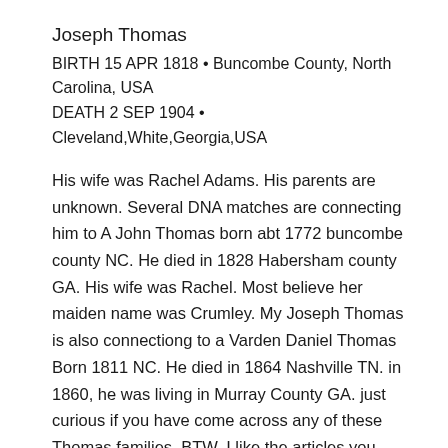Joseph Thomas
BIRTH 15 APR 1818 • Buncombe County, North Carolina, USA
DEATH 2 SEP 1904 • Cleveland,White,Georgia,USA
His wife was Rachel Adams. His parents are unknown. Several DNA matches are connecting him to A John Thomas born abt 1772 buncombe county NC. He died in 1828 Habersham county GA. His wife was Rachel. Most believe her maiden name was Crumley. My Joseph Thomas is also connectiong to a Varden Daniel Thomas Born 1811 NC. He died in 1864 Nashville TN. in 1860, he was living in Murray County GA. just curious if you have come across any of these Thomas families. BTW, I like the articles you have written